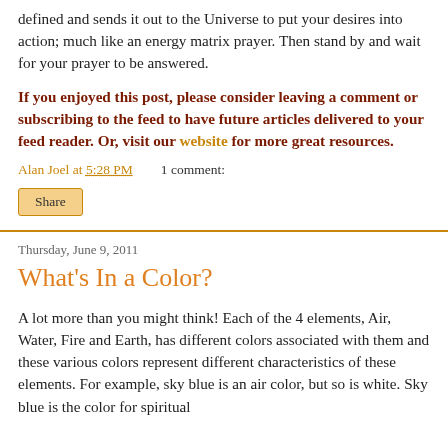defined and sends it out to the Universe to put your desires into action; much like an energy matrix prayer. Then stand by and wait for your prayer to be answered.
If you enjoyed this post, please consider leaving a comment or subscribing to the feed to have future articles delivered to your feed reader. Or, visit our website for more great resources.
Alan Joel at 5:28 PM    1 comment:
Share
Thursday, June 9, 2011
What's In a Color?
A lot more than you might think! Each of the 4 elements, Air, Water, Fire and Earth, has different colors associated with them and these various colors represent different characteristics of these elements. For example, sky blue is an air color, but so is white. Sky blue is the color for spiritual